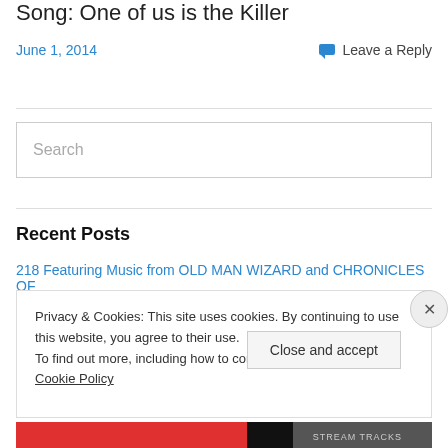Song: One of us is the Killer
June 1, 2014
Leave a Reply
Search
Recent Posts
218 Featuring Music from OLD MAN WIZARD and CHRONICLES OF
Privacy & Cookies: This site uses cookies. By continuing to use this website, you agree to their use.
To find out more, including how to control cookies, see here: Cookie Policy
Close and accept